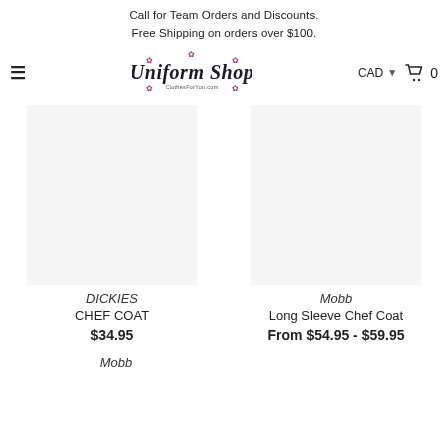Call for Team Orders and Discounts.
Free Shipping on orders over $100.
[Figure (logo): Uniform Shop logo with cursive text and floral decorations]
DICKIES
CHEF COAT
$34.95
Mobb
Long Sleeve Chef Coat
From $54.95 - $59.95
Mobb